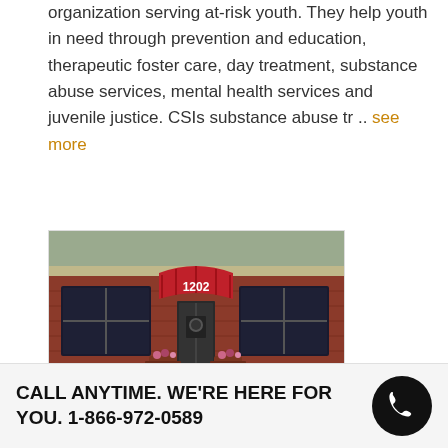organization serving at-risk youth. They help youth in need through prevention and education, therapeutic foster care, day treatment, substance abuse services, mental health services and juvenile justice. CSIs substance abuse tr .. see more
[Figure (photo): Exterior photo of a brick building with red awning over the entrance, address number 1202 visible on the awning, glass door entrance with small planters on each side]
United Family Services Sixth Street Adolescent Substance Abuse Treatment...
CALL ANYTIME. WE'RE HERE FOR YOU. 1-866-972-0589